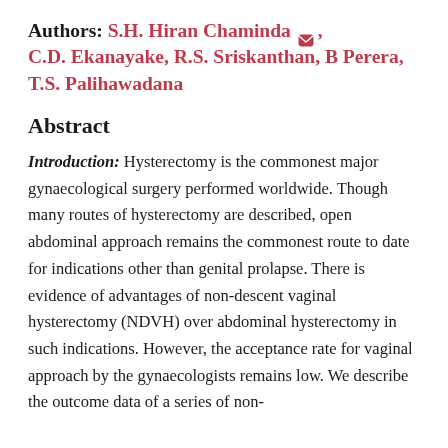Authors: S.H. Hiran Chaminda, C.D. Ekanayake, R.S. Sriskanthan, B Perera, T.S. Palihawadana
Abstract
Introduction: Hysterectomy is the commonest major gynaecological surgery performed worldwide. Though many routes of hysterectomy are described, open abdominal approach remains the commonest route to date for indications other than genital prolapse. There is evidence of advantages of non-descent vaginal hysterectomy (NDVH) over abdominal hysterectomy in such indications. However, the acceptance rate for vaginal approach by the gynaecologists remains low. We describe the outcome data of a series of non-descent vaginal hysterectomies performed in the